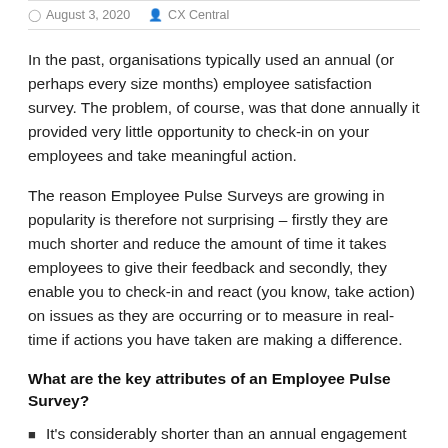August 3, 2020  CX Central
In the past, organisations typically used an annual (or perhaps every size months) employee satisfaction survey. The problem, of course, was that done annually it provided very little opportunity to check-in on your employees and take meaningful action.
The reason Employee Pulse Surveys are growing in popularity is therefore not surprising – firstly they are much shorter and reduce the amount of time it takes employees to give their feedback and secondly, they enable you to check-in and react (you know, take action) on issues as they are occurring or to measure in real-time if actions you have taken are making a difference.
What are the key attributes of an Employee Pulse Survey?
It's considerably shorter than an annual engagement